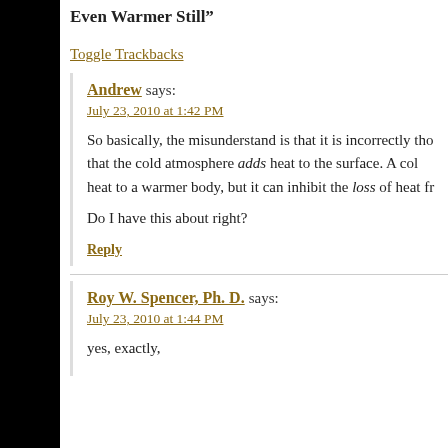Even Warmer Still”
Toggle Trackbacks
Andrew says:
July 23, 2010 at 1:42 PM
So basically, the misunderstand is that it is incorrectly tho that the cold atmosphere adds heat to the surface. A col heat to a warmer body, but it can inhibit the loss of heat fr
Do I have this about right?
Reply
Roy W. Spencer, Ph. D. says:
July 23, 2010 at 1:44 PM
yes, exactly,